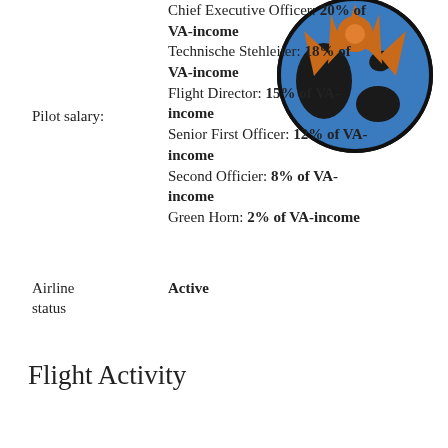[Figure (illustration): Globe/earth illustration with blue oceans, dark landmasses, and orange/brown sunburst rays emanating from the top, shown as a circular image in the top right of the page.]
Chief Executive Officer: 20% of VA-income
Technische Stehleiter: 18% of VA-income
Flight Director: 15% of VA-income
Senior First Officer: 12% of VA-income
Second Officier: 8% of VA-income
Green Horn: 2% of VA-income
Pilot salary:
Airline status
Active
Flight Activity